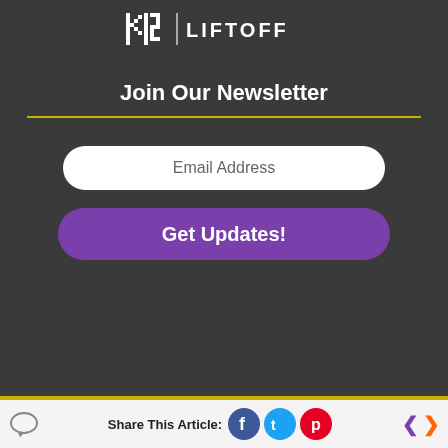[Figure (logo): K12 Liftoff logo with pixelated K12 icon and LIFTOFF text]
Join Our Newsletter
Email Address
Get Updates!
About Us
Newsletter
Contact Us
Visit K12
Share This Article: